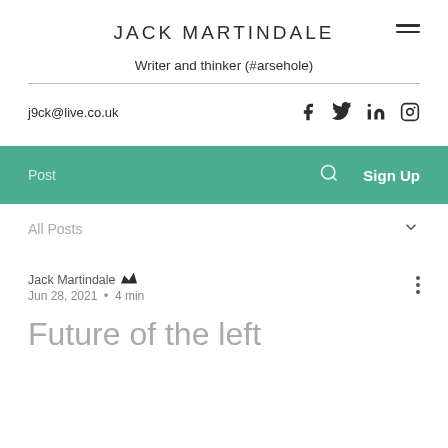JACK MARTINDALE
Writer and thinker (#arsehole)
j9ck@live.co.uk
[Figure (other): Social media icons: Facebook, Twitter, LinkedIn, Instagram]
[Figure (screenshot): Green navigation bar with Post, search icon, and Sign Up]
All Posts
Jack Martindale  Jun 28, 2021 • 4 min
Future of the left